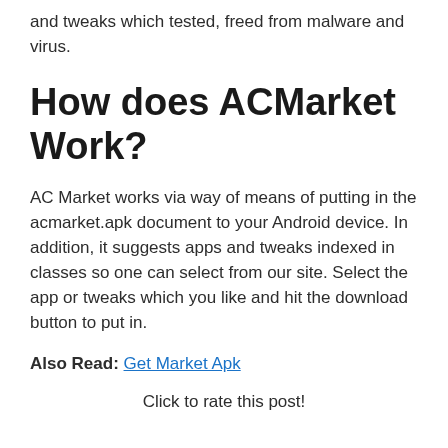and tweaks which tested, freed from malware and virus.
How does ACMarket Work?
AC Market works via way of means of putting in the acmarket.apk document to your Android device. In addition, it suggests apps and tweaks indexed in classes so one can select from our site. Select the app or tweaks which you like and hit the download button to put in.
Also Read: Get Market Apk
Click to rate this post!